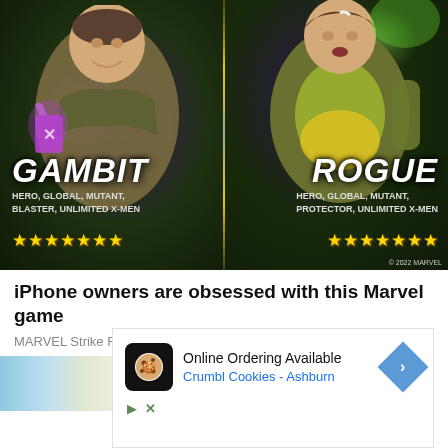[Figure (illustration): Marvel Strike Force game advertisement showing two characters: Gambit (left, Hero/Global/Mutant/Blaster/Unlimited X-Men, 7 stars) and Rogue (right, Hero/Global/Mutant/Protector/Unlimited X-Men, 7 stars) on a split dark background with gold divider. Copyright 2022 MARVEL.]
iPhone owners are obsessed with this Marvel game
MARVEL Strike Force
[Figure (photo): Partial image showing blue sky and what appears to be toenail/foot, advertisement for toenail-related product]
Doctor: If You Have Toenail
[Figure (screenshot): Popup advertisement overlay: Crumbl Cookies - Ashburn, Online Ordering Available, with cookie logo icon and navigation arrow]